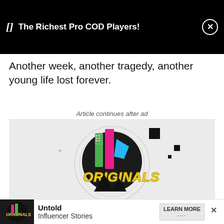[] The Richest Pro COD Players!
Another week, another tragedy, another young life lost forever.
Article continues after ad
[Figure (illustration): ORIGINALS branded advertisement with colorful graffiti-style lettering on a dark circular background with geometric shapes]
[Figure (illustration): Bottom banner ad for Untold Influencer Stories with ORIGINALS logo thumbnail and LEARN MORE button]